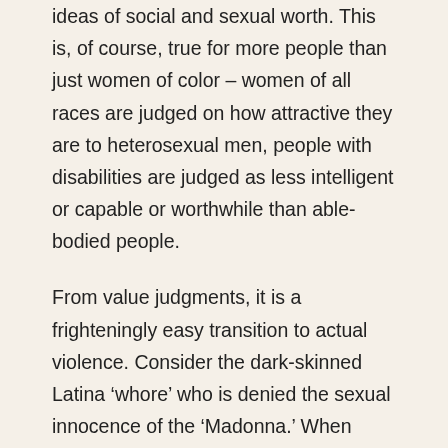ideas of social and sexual worth. This is, of course, true for more people than just women of color – women of all races are judged on how attractive they are to heterosexual men, people with disabilities are judged as less intelligent or capable or worthwhile than able-bodied people.
From value judgments, it is a frighteningly easy transition to actual violence. Consider the dark-skinned Latina 'whore' who is denied the sexual innocence of the 'Madonna.' When such a woman is raped, her violation is minimized in the same way that all violations of the sexually deviant are minimized – with excuses that she was 'asking for it,' or that it doesn't matter